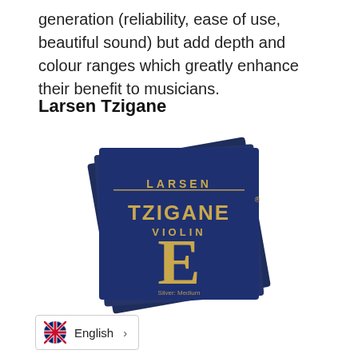generation (reliability, ease of use, beautiful sound) but add depth and colour ranges which greatly enhance their benefit to musicians.
Larsen Tzigane
[Figure (photo): Product photo of Larsen Tzigane Violin E string package. Multiple dark navy blue square packaging cards stacked at slight angles. The front card reads LARSEN TZIGANE VIOLIN E in gold lettering with a large decorative gold E. Subtitle reads Silver: Medium.]
English >